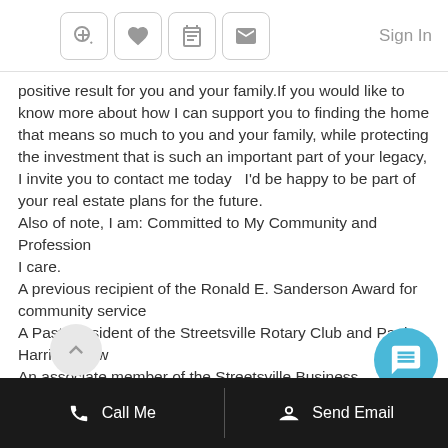Sign In
positive result for you and your family.If you would like to know more about how I can support you to finding the home that means so much to you and your family, while protecting the investment that is such an important part of your legacy, I invite you to contact me today  I'd be happy to be part of your real estate plans for the future.
Also of note, I am: Committed to My Community and Profession
I care.
A previous recipient of the Ronald E. Sanderson Award for community service
A Past President of the Streetsville Rotary Club and Paul Harris Fellow
An associate member of the Streetsville Business Improvement Area (BIA) and
An accredited Seniors Real Estate Specialist (SRES)
Call Me   Send Email